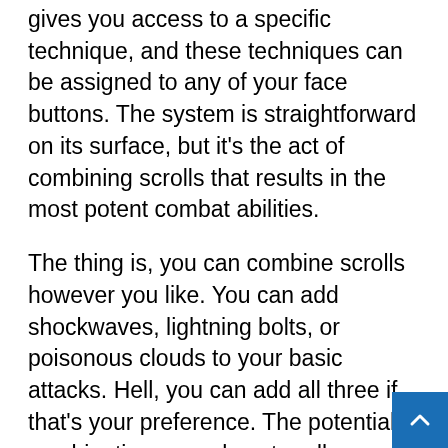gives you access to a specific technique, and these techniques can be assigned to any of your face buttons. The system is straightforward on its surface, but it's the act of combining scrolls that results in the most potent combat abilities.
The thing is, you can combine scrolls however you like. You can add shockwaves, lightning bolts, or poisonous clouds to your basic attacks. Hell, you can add all three if that's your preference. The potential combinations are almost endless, and this is where Samurai Bringer really shines. The degree of gameplay customisation that's on offer right from the word go is quite staggering, and creating your own arsenal of increasingly absurd attacks is highly entertaining.